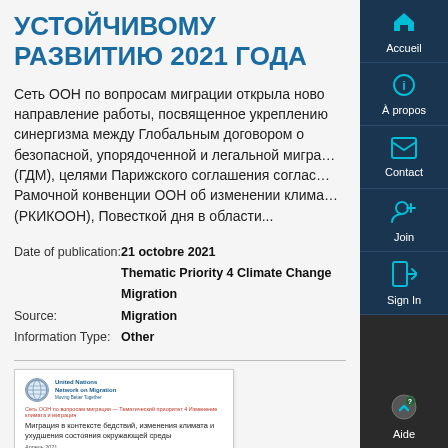УСТОЙЧИВОМУ РАЗВИТИЮ 2021 ГОДА
Сеть ООН по вопросам миграции открыла новое направление работы, посвященное укреплению синергизма между Глобальным договором о безопасной, упорядоченной и легальной миграции (ГДМ), целями Парижского соглашения согласно Рамочной конвенции ООН об изменении климата (РКИКООН), Повесткой дня в области...
| Date of publication: | 21 octobre 2021 |
|  | Thematic Priority 4 Climate Change Migration |
| Source: | Migration |
| Information Type: | Other |
[Figure (other): Document preview showing UN Network on Migration report cover with Russian text about migration in the context of disasters, climate change and environmental degradation]